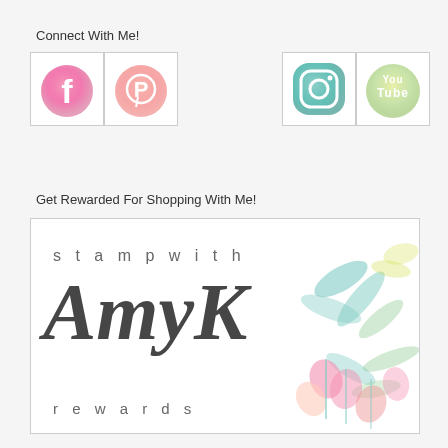Connect With Me!
[Figure (illustration): Four social media icons in watercolor style: Facebook (pink), Pinterest (pink), Instagram (teal), YouTube (yellow-green), each in a bordered box]
Get Rewarded For Shopping With Me!
[Figure (illustration): Stamp With Amy K Rewards logo with script lettering and watercolor floral background in a bordered box]